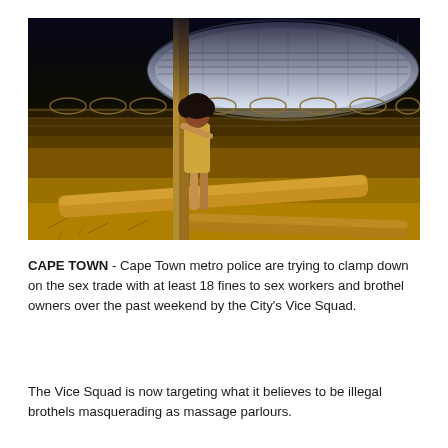[Figure (photo): Night photograph of a woman in a short dress standing beside a large wooden/pipe pole near a chain-link fence with barbed wire. In the background is a brightly lit modern stadium. On the ground are large yellow pipes and dry grass.]
CAPE TOWN - Cape Town metro police are trying to clamp down on the sex trade with at least 18 fines to sex workers and brothel owners over the past weekend by the City's Vice Squad.
The Vice Squad is now targeting what it believes to be illegal brothels masquerading as massage parlours.